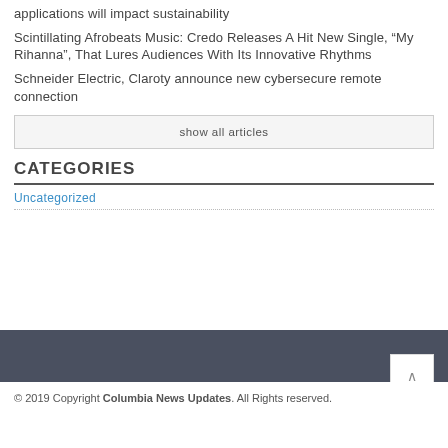applications will impact sustainability
Scintillating Afrobeats Music: Credo Releases A Hit New Single, “My Rihanna”, That Lures Audiences With Its Innovative Rhythms
Schneider Electric, Claroty announce new cybersecure remote connection
show all articles
CATEGORIES
Uncategorized
© 2019 Copyright Columbia News Updates. All Rights reserved.